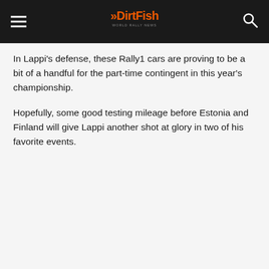DirtFish
In Lappi's defense, these Rally1 cars are proving to be a bit of a handful for the part-time contingent in this year's championship.
Hopefully, some good testing mileage before Estonia and Finland will give Lappi another shot at glory in two of his favorite events.